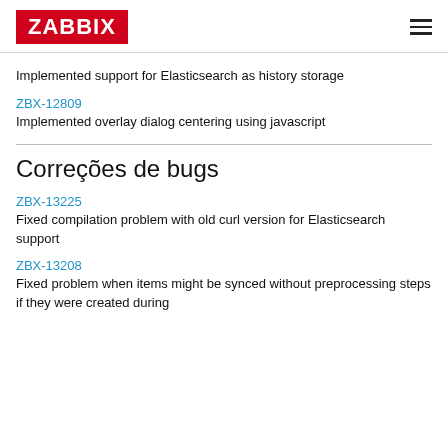ZABBIX
Implemented support for Elasticsearch as history storage
ZBX-12809
Implemented overlay dialog centering using javascript
Correções de bugs
ZBX-13225
Fixed compilation problem with old curl version for Elasticsearch support
ZBX-13208
Fixed problem when items might be synced without preprocessing steps if they were created during